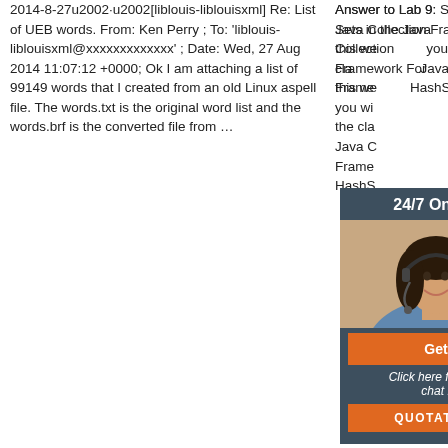2014-8-27u2002·u2002[liblouis-liblouisxml] Re: List of UEB words. From: Ken Perry ; To: 'liblouis-liblouisxml@xxxxxxxxxxxxx' ; Date: Wed, 27 Aug 2014 11:07:12 +0000; Ok I am attaching a list of 99149 words that I created from an old Linux aspell file. The words.txt is the original word list and the words.brf is the converted file from …
Answer to Lab 9: Sets in the Java Collection Framework For this week's lab, you will use the classes in the Java Collection Framework, HashS…
[Figure (infographic): Advertisement overlay: dark blue/grey box with '24/7 Online' header, photo of woman with headset, orange 'Get' button, 'Click here for free chat!' italic text, and orange 'QUOTATION' button]
[Figure (infographic): TOP button with orange dotted arc above and bold 'TOP' text with orange O letter]